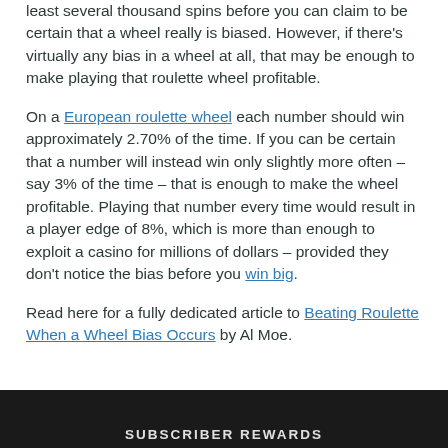least several thousand spins before you can claim to be certain that a wheel really is biased. However, if there's virtually any bias in a wheel at all, that may be enough to make playing that roulette wheel profitable.
On a European roulette wheel each number should win approximately 2.70% of the time. If you can be certain that a number will instead win only slightly more often – say 3% of the time – that is enough to make the wheel profitable. Playing that number every time would result in a player edge of 8%, which is more than enough to exploit a casino for millions of dollars – provided they don't notice the bias before you win big.
Read here for a fully dedicated article to Beating Roulette When a Wheel Bias Occurs by Al Moe.
SUBSCRIBER REWARDS